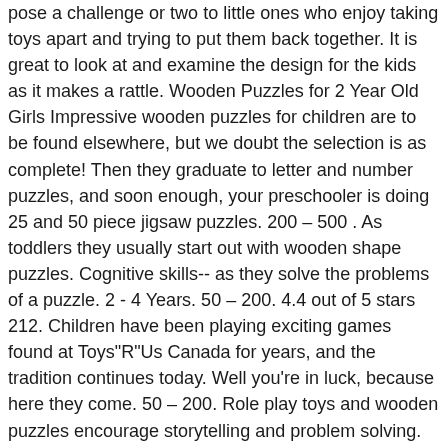pose a challenge or two to little ones who enjoy taking toys apart and trying to put them back together. It is great to look at and examine the design for the kids as it makes a rattle. Wooden Puzzles for 2 Year Old Girls Impressive wooden puzzles for children are to be found elsewhere, but we doubt the selection is as complete! Then they graduate to letter and number puzzles, and soon enough, your preschooler is doing 25 and 50 piece jigsaw puzzles. 200 – 500 . As toddlers they usually start out with wooden shape puzzles. Cognitive skills-- as they solve the problems of a puzzle. 2 - 4 Years. 50 – 200. 4.4 out of 5 stars 212. Children have been playing exciting games found at Toys"R"Us Canada for years, and the tradition continues today. Well you're in luck, because here they come. 50 – 200. Role play toys and wooden puzzles encourage storytelling and problem solving. Free 2-day shipping. They are bright and colorful, with cute animal themes that little children love. £16.99 £ 16. Wooden Peg Puzzles for Toddlers 2 3 Years Old, Alphabet & Number Puzzles for Product Description 〖4 PACK PEG PUZZLES SET〗: Puzzles include 20-piece